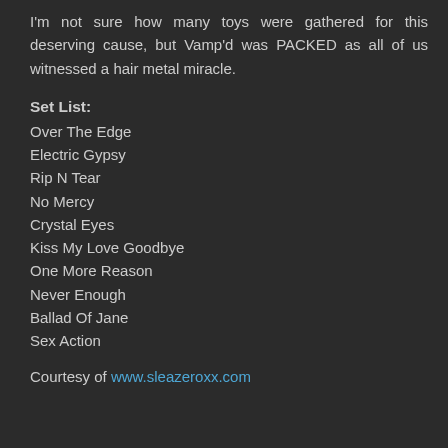I'm not sure how many toys were gathered for this deserving cause, but Vamp'd was PACKED as all of us witnessed a hair metal miracle.
Set List:
Over The Edge
Electric Gypsy
Rip N Tear
No Mercy
Crystal Eyes
Kiss My Love Goodbye
One More Reason
Never Enough
Ballad Of Jane
Sex Action
Courtesy of www.sleazeroxx.com